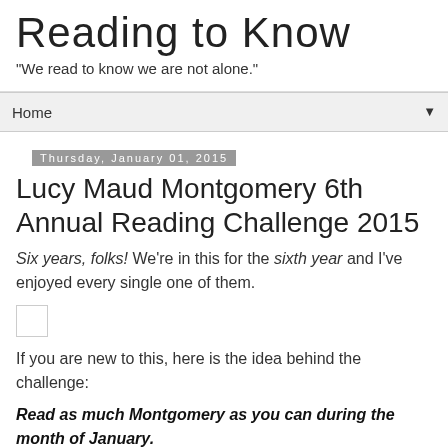Reading to Know
"We read to know we are not alone."
Home ▼
Thursday, January 01, 2015
Lucy Maud Montgomery 6th Annual Reading Challenge 2015
Six years, folks! We're in this for the sixth year and I've enjoyed every single one of them.
[Figure (other): Small image placeholder box]
If you are new to this, here is the idea behind the challenge:
Read as much Montgomery as you can during the month of January.